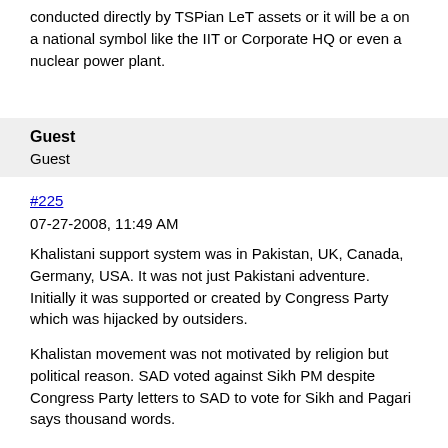conducted directly by TSPian LeT assets or it will be a on a national symbol like the IIT or Corporate HQ or even a nuclear power plant.
Guest
Guest
#225
07-27-2008, 11:49 AM
Khalistani support system was in Pakistan, UK, Canada, Germany, USA. It was not just Pakistani adventure. Initially it was supported or created by Congress Party which was hijacked by outsiders.
Khalistan movement was not motivated by religion but political reason. SAD voted against Sikh PM despite Congress Party letters to SAD to vote for Sikh and Pagari says thousand words.
But Indian Muslims are motivated by religion and gets support from Indian politicians, Middle East, Pakistan, Bangladesh. This movement is religious. Very different. They are not asking piece of land but they want everyone to become like them, follow their religion and way of life.